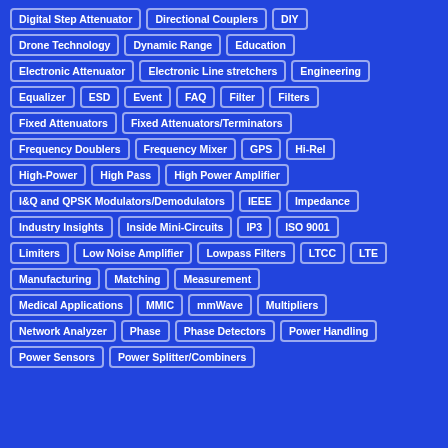Digital Step Attenuator
Directional Couplers
DIY
Drone Technology
Dynamic Range
Education
Electronic Attenuator
Electronic Line stretchers
Engineering
Equalizer
ESD
Event
FAQ
Filter
Filters
Fixed Attenuators
Fixed Attenuators/Terminators
Frequency Doublers
Frequency Mixer
GPS
Hi-Rel
High-Power
High Pass
High Power Amplifier
I&Q and QPSK Modulators/Demodulators
IEEE
Impedance
Industry Insights
Inside Mini-Circuits
IP3
ISO 9001
Limiters
Low Noise Amplifier
Lowpass Filters
LTCC
LTE
Manufacturing
Matching
Measurement
Medical Applications
MMIC
mmWave
Multipliers
Network Analyzer
Phase
Phase Detectors
Power Handling
Power Sensors
Power Splitter/Combiners